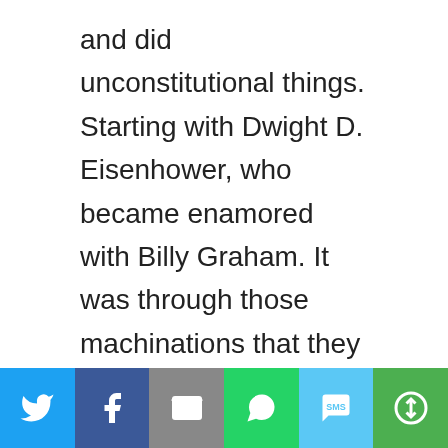and did unconstitutional things. Starting with Dwight D. Eisenhower, who became enamored with Billy Graham. It was through those machinations that they put “In God We Trust” on our currency and inserted “Under God” in our oath of allegiance. Somehow I
[Figure (other): Social media share bar with Twitter, Facebook, Email, WhatsApp, SMS, and More buttons]